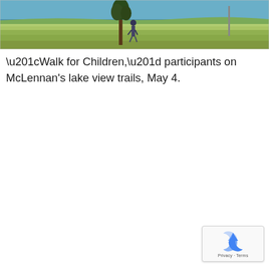[Figure (photo): Outdoor photo showing lake view with green grass/meadow in foreground, blue water in background, and a tree with a person/figure walking on trails.]
“Walk for Children,” participants on McLennan’s lake view trails, May 4.